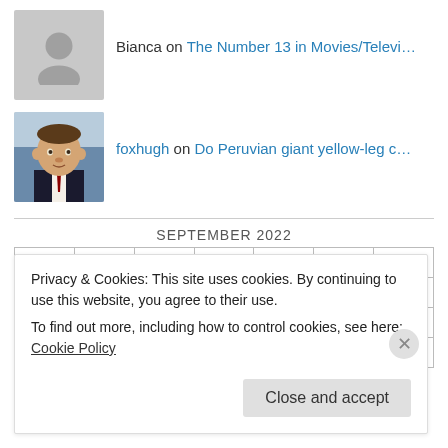Bianca on The Number 13 in Movies/Televi…
foxhugh on Do Peruvian giant yellow-leg c…
| M | T | W | T | F | S | S |
| --- | --- | --- | --- | --- | --- | --- |
|  |  |  | 1 | 2 | 3 | 4 |
| 5 | 6 | 7 | 8 | 9 | 10 | 11 |
| 12 | 13 | 14 | 15 | 16 | 17 | 18 |
Privacy & Cookies: This site uses cookies. By continuing to use this website, you agree to their use.
To find out more, including how to control cookies, see here: Cookie Policy